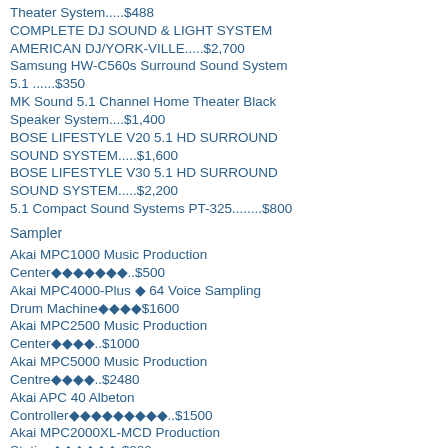Theater System.....$488
COMPLETE DJ SOUND & LIGHT SYSTEM AMERICAN DJ/YORK-VILLE.....$2,700
Samsung HW-C560s Surround Sound System 5.1 ......$350
MK Sound 5.1 Channel Home Theater Black Speaker System....$1,400
BOSE LIFESTYLE V20 5.1 HD SURROUND SOUND SYSTEM.....$1,600
BOSE LIFESTYLE V30 5.1 HD SURROUND SOUND SYSTEM.....$2,200
5.1 Compact Sound Systems PT-325........$800
Sampler
Akai MPC1000 Music Production Center◆◆◆◆◆◆◆..$500
Akai MPC4000-Plus ◆ 64 Voice Sampling Drum Machine◆◆◆◆$1600
Akai MPC2500 Music Production Center◆◆◆◆..$1000
Akai MPC5000 Music Production Centre◆◆◆◆..$2480
Akai APC 40 Albeton Controller◆◆◆◆◆◆◆◆◆..$1500
Akai MPC2000XL-MCD Production Station◆◆◆◆◆◆.$800
Akai MPC500 MIDI Production System/Sampler◆◆◆◆$250